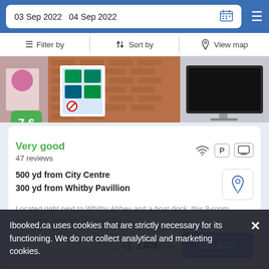03 Sep 2022   04 Sep 2022
Filter by   Sort by   View map
[Figure (photo): Hotel exterior photo showing brick wall, windows with displays, and a TV screen]
7.6
Very good
47 reviews
500 yd from City Centre
300 yd from Whitby Pavillion
Located right next to Whitby Abbey and a boat dock, this 8-room apartment features Victorian décor.
from  c$ 149/night
SELECT
Ibooked.ca uses cookies that are strictly necessary for its functioning. We do not collect analytical and marketing cookies.
Lobster Hall
Guest house